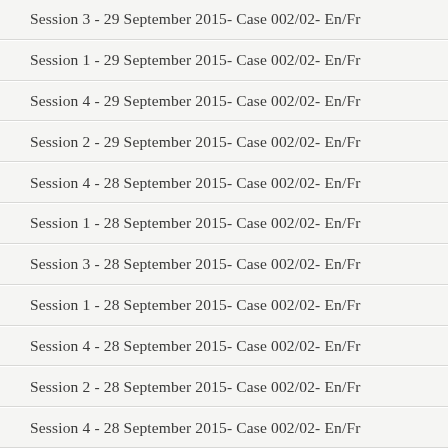Session 3 - 29 September 2015- Case 002/02- En/Fr
Session 1 - 29 September 2015- Case 002/02- En/Fr
Session 4 - 29 September 2015- Case 002/02- En/Fr
Session 2 - 29 September 2015- Case 002/02- En/Fr
Session 4 - 28 September 2015- Case 002/02- En/Fr
Session 1 - 28 September 2015- Case 002/02- En/Fr
Session 3 - 28 September 2015- Case 002/02- En/Fr
Session 1 - 28 September 2015- Case 002/02- En/Fr
Session 4 - 28 September 2015- Case 002/02- En/Fr
Session 2 - 28 September 2015- Case 002/02- En/Fr
Session 4 - 28 September 2015- Case 002/02- En/Fr